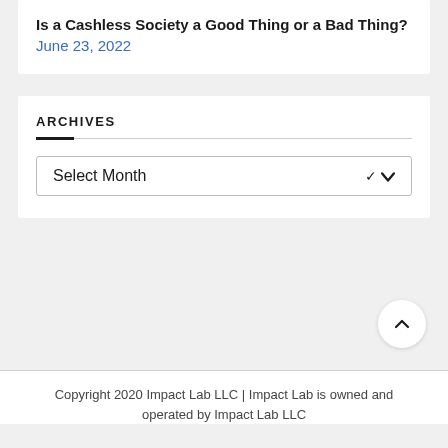Is a Cashless Society a Good Thing or a Bad Thing? June 23, 2022
ARCHIVES
Select Month
[Figure (other): Back to top button - circular white button with upward chevron arrow]
Copyright 2020 Impact Lab LLC | Impact Lab is owned and operated by Impact Lab LLC